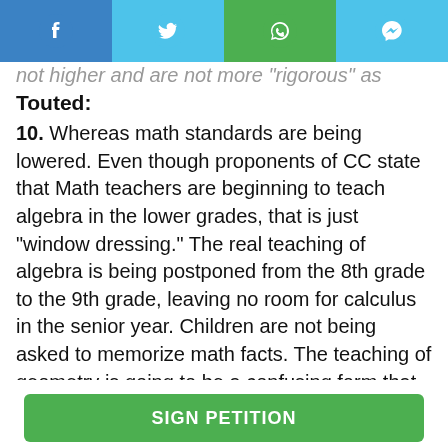[Figure (other): Social media share bar with Facebook, Twitter, WhatsApp, and Messenger icons]
not higher and are not more "rigorous" as Touted:
10. Whereas math standards are being lowered. Even though proponents of CC state that Math teachers are beginning to teach algebra in the lower grades, that is just "window dressing." The real teaching of algebra is being postponed from the 8th grade to the 9th grade, leaving no room for calculus in the senior year. Children are not being asked to memorize math facts. The teaching of geometry is going to be a confusing form that was tried and thrown out of the Soviet Union 50 years ago. Classical English Literature is lowered from 80% to 50% in elementary school and down to 30% in high school. Children will just
[Figure (other): Green SIGN PETITION button at the bottom of the page]